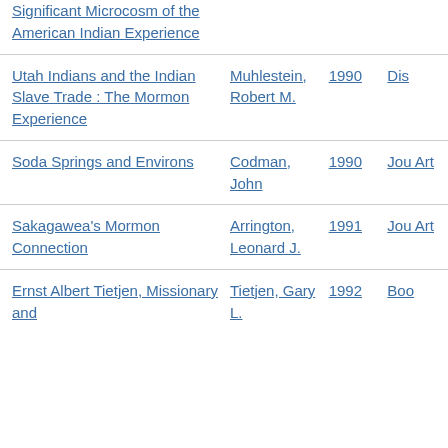| Title | Author | Year | Type |
| --- | --- | --- | --- |
| Significant Microcosm of the American Indian Experience |  |  |  |
| Utah Indians and the Indian Slave Trade : The Mormon Experience | Muhlestein, Robert M. | 1990 | Dis... |
| Soda Springs and Environs | Codman, John | 1990 | Jou... Art... |
| Sakagawea's Mormon Connection | Arrington, Leonard J. | 1991 | Jou... Art... |
| Ernst Albert Tietjen, Missionary and ... | Tietjen, Gary L. | 1992 | Boo... |